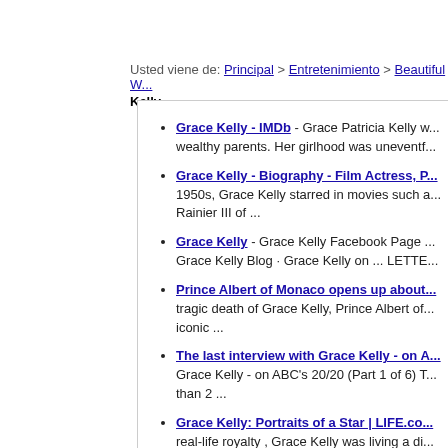Usted viene de: Principal > Entretenimiento > Beautiful W... Kelly
Grace Kelly - IMDb - Grace Patricia Kelly w... wealthy parents. Her girlhood was uneventf...
Grace Kelly - Biography - Film Actress, P... 1950s, Grace Kelly starred in movies such a... Rainier III of ...
Grace Kelly - Grace Kelly Facebook Page ... Grace Kelly Blog · Grace Kelly on ... LETTE...
Prince Albert of Monaco opens up about... tragic death of Grace Kelly, Prince Albert of... iconic ...
The last interview with Grace Kelly - on A... Grace Kelly - on ABC's 20/20 (Part 1 of 6) T... than 2 ...
Grace Kelly: Portraits of a Star | LIFE.co... real-life royalty , Grace Kelly was living a di...
Grace Kelly Online | Pictures, biography,... most admired women in the world. Even too... talent and ...
Grace Kelly: screen goddess, princess a... glamour, privilege and ultimately tragedy. N... the ...